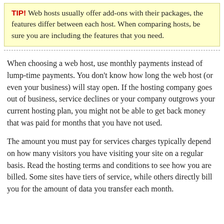TIP! Web hosts usually offer add-ons with their packages, the features differ between each host. When comparing hosts, be sure you are including the features that you need.
When choosing a web host, use monthly payments instead of lump-time payments. You don't know how long the web host (or even your business) will stay open. If the hosting company goes out of business, service declines or your company outgrows your current hosting plan, you might not be able to get back money that was paid for months that you have not used.
The amount you must pay for services charges typically depend on how many visitors you have visiting your site on a regular basis. Read the hosting terms and conditions to see how you are billed. Some sites have tiers of service, while others directly bill you for the amount of data you transfer each month.